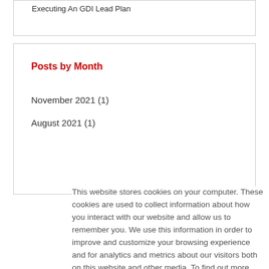Executing An GDI Lead Plan
Posts by Month
November 2021 (1)
August 2021 (1)
This website stores cookies on your computer. These cookies are used to collect information about how you interact with our website and allow us to remember you. We use this information in order to improve and customize your browsing experience and for analytics and metrics about our visitors both on this website and other media. To find out more about the cookies we use, see our Privacy Policy
If you decline, your information won't be tracked when you visit this website. A single cookie will be used in your browser to remember your preference not to be tracked.